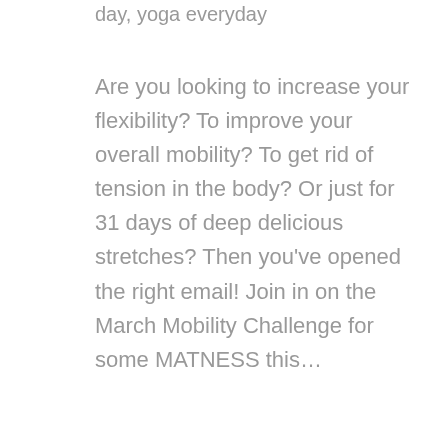day, yoga everyday
Are you looking to increase your flexibility? To improve your overall mobility? To get rid of tension in the body? Or just for 31 days of deep delicious stretches? Then you've opened the right email! Join in on the March Mobility Challenge for some MATNESS this…